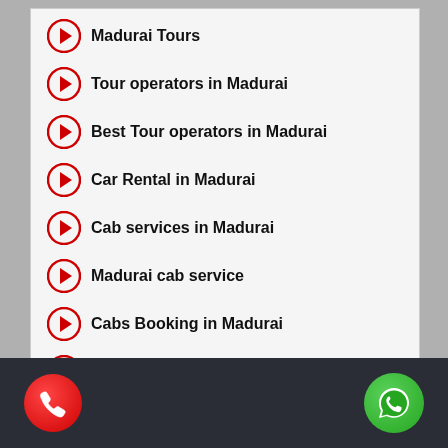Madurai Tours
Tour operators in Madurai
Best Tour operators in Madurai
Car Rental in Madurai
Cab services in Madurai
Madurai cab service
Cabs Booking in Madurai
Travels Booking from Madurai
Tempo Traveller Price in Madurai
Phone icon | WhatsApp icon